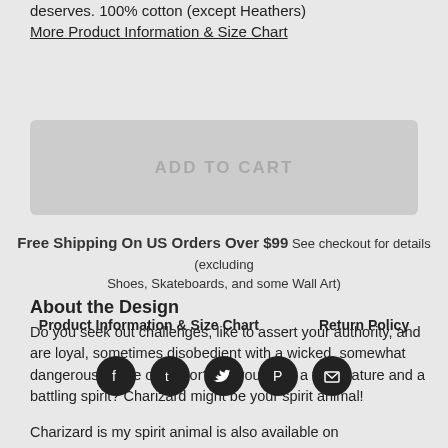deserves. 100% cotton (except Heathers)
More Product Information & Size Chart
ADD TO CART
Free Shipping On US Orders Over $99 See checkout for details (excluding Shoes, Skateboards, and some Wall Art)
About the Design
Do you seek out challenges, like to assert your authority, and are loyal, sometimes disobedient with a wicked, somewhat dangerous sense of humor? Do you have a fiery nature and a battling spirit? Charizard might be your spirit animal!
Product Information & Size Chart    Return Policy
[Figure (infographic): Five social media icon buttons (Facebook, Tumblr, Twitter, Pinterest, Email) as dark circular icons in a row]
Charizard is my spirit animal is also available on